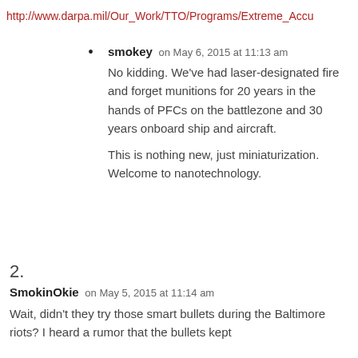http://www.darpa.mil/Our_Work/TTO/Programs/Extreme_Accu
smokey on May 6, 2015 at 11:13 am

No kidding. We've had laser-designated fire and forget munitions for 20 years in the hands of PFCs on the battlezone and 30 years onboard ship and aircraft.

This is nothing new, just miniaturization. Welcome to nanotechnology.
2.
SmokinOkie on May 5, 2015 at 11:14 am
Wait, didn't they try those smart bullets during the Baltimore riots? I heard a rumor that the bullets kept